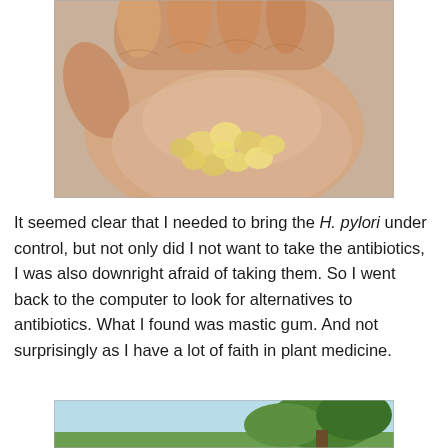[Figure (photo): A hand with an open palm holding several small yellow-amber translucent resin pieces (mastic gum) against a neutral beige background.]
It seemed clear that I needed to bring the H. pylori under control, but not only did I not want to take the antibiotics, I was also downright afraid of taking them. So I went back to the computer to look for alternatives to antibiotics. What I found was mastic gum. And not surprisingly as I have a lot of faith in plant medicine.
[Figure (photo): Partial view of a tree with green foliage against a light blue sky, cut off at the bottom of the page.]